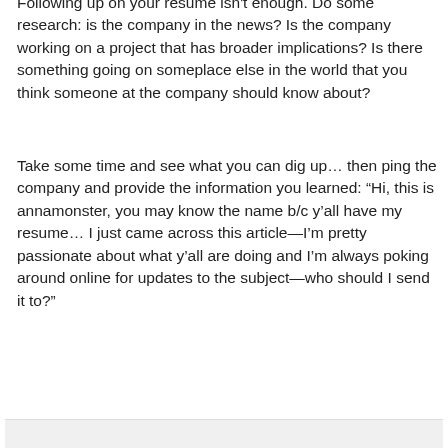Following up on your resume isn't enough. Do some research: is the company in the news? Is the company working on a project that has broader implications? Is there something going on someplace else in the world that you think someone at the company should know about?
Take some time and see what you can dig up… then ping the company and provide the information you learned: “Hi, this is annamonster, you may know the name b/c y’all have my resume… I just came across this article—I’m pretty passionate about what y’all are doing and I’m always poking around online for updates to the subject—who should I send it to?”
Reply